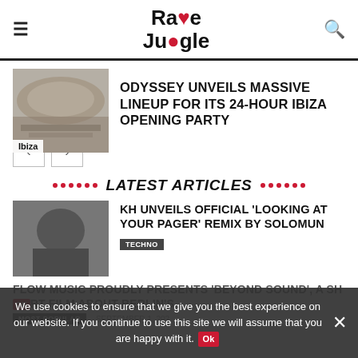Rave Jungle
[Figure (photo): Outdoor festival stage aerial view with crowd]
ODYSSEY UNVEILS MASSIVE LINEUP FOR ITS 24-HOUR IBIZA OPENING PARTY
LATEST ARTICLES
[Figure (photo): Grayscale close-up portrait of a person]
KH UNVEILS OFFICIAL 'LOOKING AT YOUR PAGER' REMIX BY SOLOMUN
FLOW MUSIC PROUDLY PRESENTS 'BEYOND SOUND', A SHORT FILM ABOUT BERLIN'S...
We use cookies to ensure that we give you the best experience on our website. If you continue to use this site we will assume that you are happy with it.